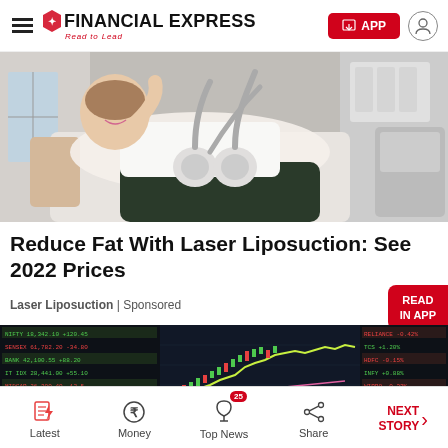Financial Express — Read to Lead
[Figure (photo): Woman lying on a treatment chair smiling while a laser liposuction machine with multiple applicator heads is applied to her abdomen area in a clinical setting]
Reduce Fat With Laser Liposuction: See 2022 Prices
Laser Liposuction | Sponsored
[Figure (screenshot): Stock market trading screen showing candlestick chart with upward trending line, colored financial data tables in red and green on a dark background]
Latest | Money | Top News (25) | Share | NEXT STORY